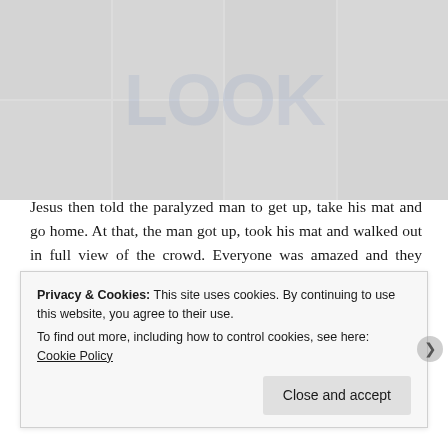[Figure (photo): Faded/watermarked background photo collage with overlaid large light-blue bold text watermark]
Jesus then told the paralyzed man to get up, take his mat and go home. At that, the man got up, took his mat and walked out in full view of the crowd. Everyone was amazed and they praised God, saying, “We have never seen anything like this!” This is Jesus forgiving and healing a paralyzed man.
Later, Jesus calls for Levi and eats with sinners. It started when Jesus went out beside a lake and a large crowd
Privacy & Cookies: This site uses cookies. By continuing to use this website, you agree to their use.
To find out more, including how to control cookies, see here: Cookie Policy
Close and accept